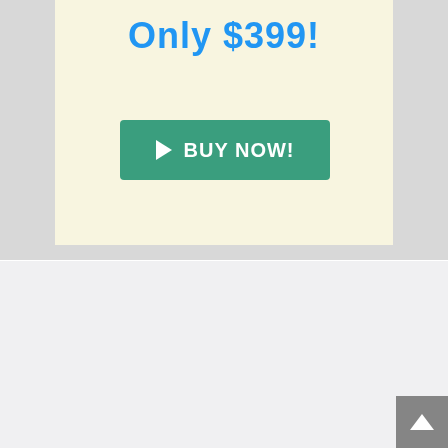Only $399!
BUY NOW!
LAMBERS CONTINUING